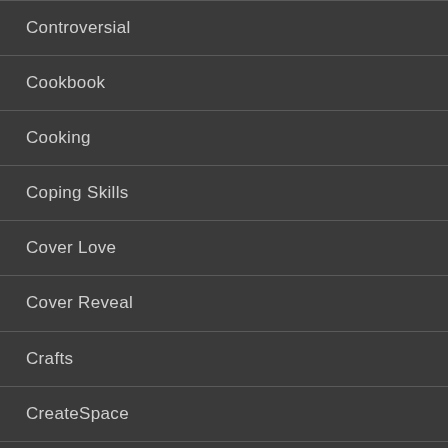Controversial
Cookbook
Cooking
Coping Skills
Cover Love
Cover Reveal
Crafts
CreateSpace
Creative Intelligence